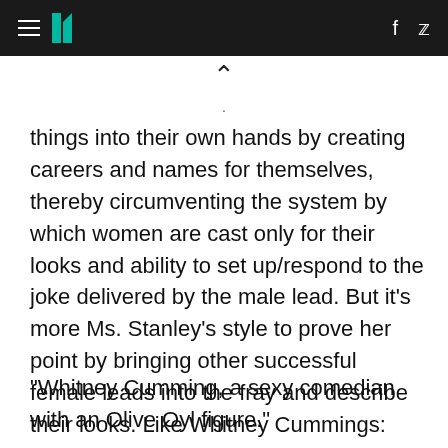HuffPost — navigation and social icons
things into their own hands by creating careers and names for themselves, thereby circumventing the system by which women are cast only for their looks and ability to set up/respond to the joke delivered by the male lead. But it's more Ms. Stanley's style to prove her point by bringing other successful female leads into the fray and describe their looks. Like Whitney Cummings:
"Whitney Cumming, a sexy comedian with an Olive Oyl figure."